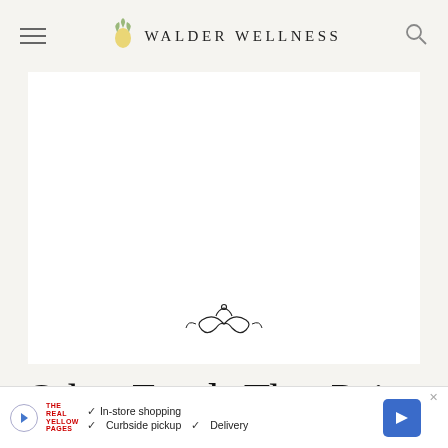WALDER WELLNESS
[Figure (illustration): Large white rectangular image area with a decorative floral/botanical flourish ornament centered near the bottom]
Other Foods That Pair